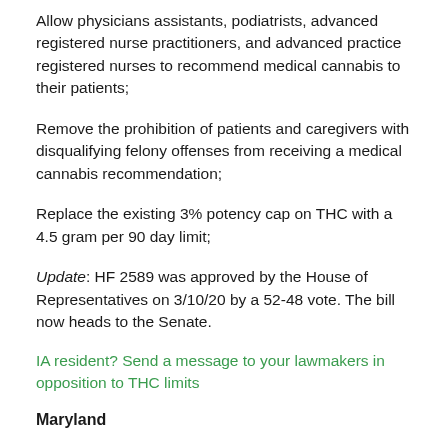Allow physicians assistants, podiatrists, advanced registered nurse practitioners, and advanced practice registered nurses to recommend medical cannabis to their patients;
Remove the prohibition of patients and caregivers with disqualifying felony offenses from receiving a medical cannabis recommendation;
Replace the existing 3% potency cap on THC with a 4.5 gram per 90 day limit;
Update: HF 2589 was approved by the House of Representatives on 3/10/20 by a 52-48 vote. The bill now heads to the Senate.
IA resident? Send a message to your lawmakers in opposition to THC limits
Maryland
Legislation is pending, House Bill 550, to expand the state's